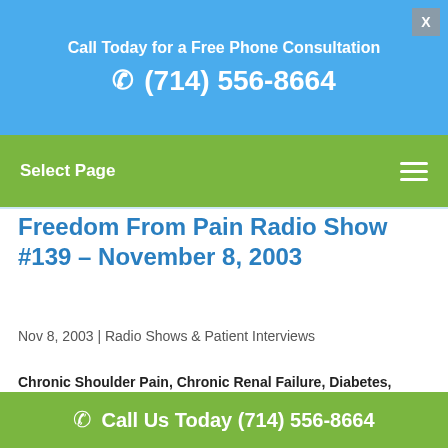Call Today for a Free Phone Consultation
(714) 556-8664
Select Page
Freedom From Pain Radio Show #139 – November 8, 2003
Nov 8, 2003 | Radio Shows & Patient Interviews
Chronic Shoulder Pain, Chronic Renal Failure, Diabetes, Hepatits C
Call Us Today (714) 556-8664